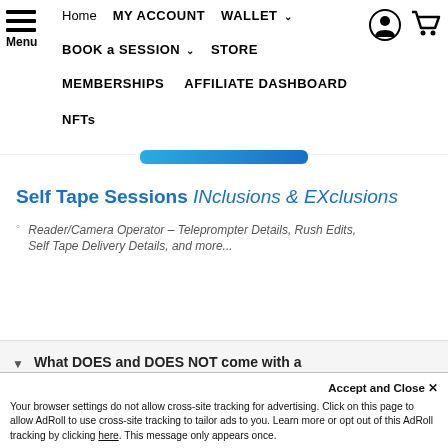Home  MY ACCOUNT  WALLET  BOOK a SESSION  STORE  MEMBERSHIPS  AFFILIATE DASHBOARD  NFTs
[Figure (screenshot): Blue gradient button/bar below navigation]
Self Tape Sessions INclusions & EXclusions
Reader/Camera Operator – Teleprompter Details, Rush Edits, Self Tape Delivery Details, and more...
What DOES and DOES NOT come with a Self Tape session?
Need to use Our Teleprompter?
Accept and Close ×
Your browser settings do not allow cross-site tracking for advertising. Click on this page to allow AdRoll to use cross-site tracking to tailor ads to you. Learn more or opt out of this AdRoll tracking by clicking here. This message only appears once.